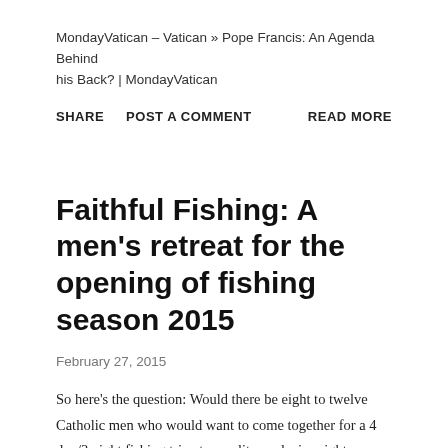MondayVatican – Vatican » Pope Francis: An Agenda Behind his Back? | MondayVatican
SHARE   POST A COMMENT   READ MORE
Faithful Fishing: A men's retreat for the opening of fishing season 2015
February 27, 2015
So here's the question: Would there be eight to twelve Catholic men who would want to come together for a 4 day/3 night fishing trip at a quality exclusive rights outfitter (Dumoine Lake Cottages) for a reasonable pri…